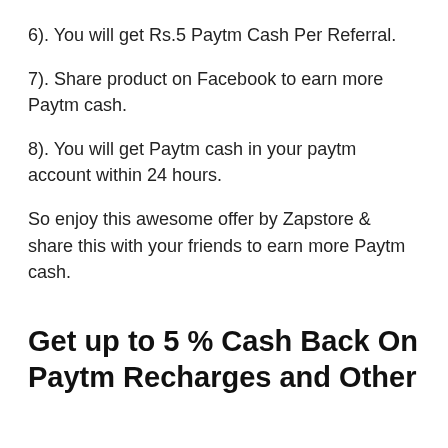6). You will get Rs.5 Paytm Cash Per Referral.
7). Share product on Facebook to earn more Paytm cash.
8). You will get Paytm cash in your paytm account within 24 hours.
So enjoy this awesome offer by Zapstore & share this with your friends to earn more Paytm cash.
Get up to 5 % Cash Back On Paytm Recharges and Other